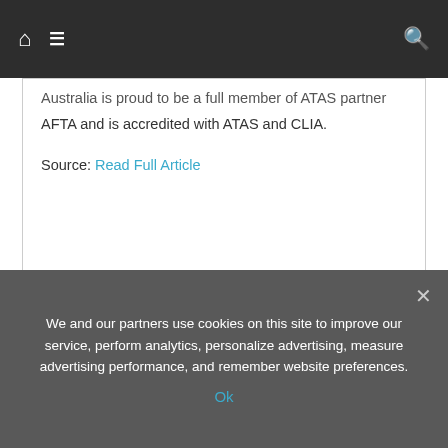Home | Menu | Search
Australia is proud to be a full member of ATAS partner AFTA and is accredited with ATAS and CLIA.
Source: Read Full Article
← Papillon Group announces return of Whitewater Rafting ·
Craft beer brews up heady tourism boom for
We and our partners use cookies on this site to improve our service, perform analytics, personalize advertising, measure advertising performance, and remember website preferences.
Ok